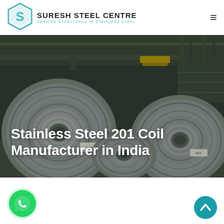[Figure (logo): Suresh Steel Centre logo with hexagon icon and tagline 'Serving Excellence in Stainless Steel']
[Figure (photo): Industrial steel manufacturing facility interior showing large rolls of stainless steel coils on the floor with overhead crane structure and warehouse lighting]
Stainless Steel 201 Coil Manufacturer in India
[Figure (illustration): WhatsApp chat button - circular green icon with phone handset]
[Figure (illustration): Scroll to top button - circular teal icon with upward chevron arrow]